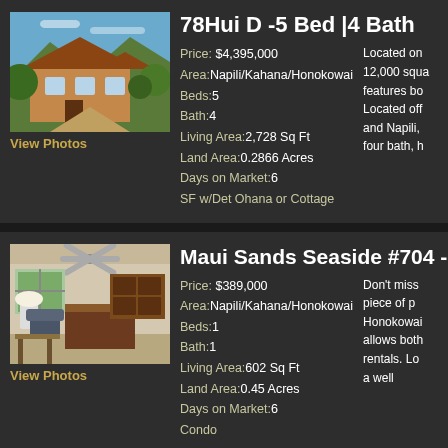78Hui D -5 Bed |4 Bath
Price: $4,395,000
Area:Napili/Kahana/Honokowai
Beds:5
Bath:4
Living Area:2,728 Sq Ft
Land Area:0.2866 Acres
Days on Market:6
SF w/Det Ohana or Cottage
Located on 12,000 squa features bo Located off and Napili, four bath, h
[Figure (photo): Exterior photo of a multi-story house with terracotta/orange roof tiles, surrounded by tropical greenery.]
View Photos
Maui Sands Seaside #704 -1 Bed
Price: $389,000
Area:Napili/Kahana/Honokowai
Beds:1
Bath:1
Living Area:602 Sq Ft
Land Area:0.45 Acres
Days on Market:6
Condo
Don't miss piece of p Honokowai allows both rentals. Lo a well
[Figure (photo): Interior photo of a living/kitchen area with ceiling fan, wood cabinetry, and tropical plants visible through window.]
View Photos